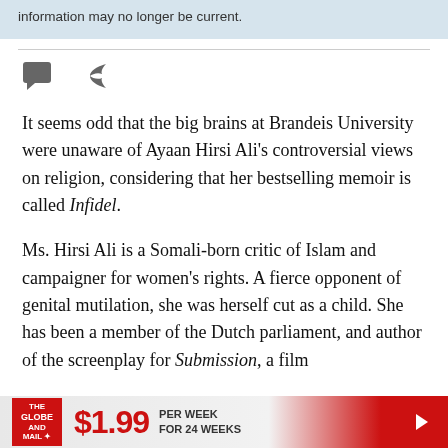This article was published more than 5 years ago. Some information may no longer be current.
[Figure (other): Comment icon and share/forward icon buttons]
It seems odd that the big brains at Brandeis University were unaware of Ayaan Hirsi Ali's controversial views on religion, considering that her bestselling memoir is called Infidel.
Ms. Hirsi Ali is a Somali-born critic of Islam and campaigner for women's rights. A fierce opponent of genital mutilation, she was herself cut as a child. She has been a member of the Dutch parliament, and author of the screenplay for Submission, a film
$1.99 PER WEEK FOR 24 WEEKS — The Globe and Mail